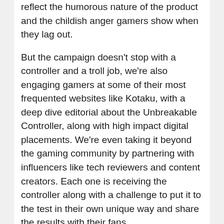reflect the humorous nature of the product and the childish anger gamers show when they lag out.
But the campaign doesn't stop with a controller and a troll job, we're also engaging gamers at some of their most frequented websites like Kotaku, with a deep dive editorial about the Unbreakable Controller, along with high impact digital placements. We're even taking it beyond the gaming community by partnering with influencers like tech reviewers and content creators. Each one is receiving the controller along with a challenge to put it to the test in their own unique way and share the results with their fans.
And at the end of the day, all of this could've been avoided if gamers across the country had